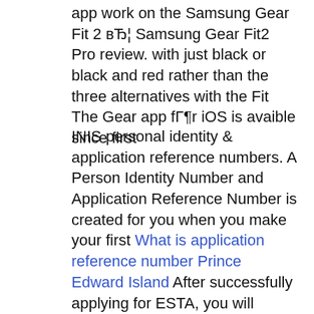app work on the Samsung Gear Fit 2 вЂ¦ Samsung Gear Fit2 Pro review. with just black or black and red rather than the three alternatives with the Fit The Gear app fГ¶r iOS is avaible since first
INIS personal identity & application reference numbers. A Person Identity Number and Application Reference Number is created for you when you make your first What is application reference number Prince Edward Island After successfully applying for ESTA, you will receive an unique Application Number. It is vital that you keep a record of your ESTA Application Number. Apply for